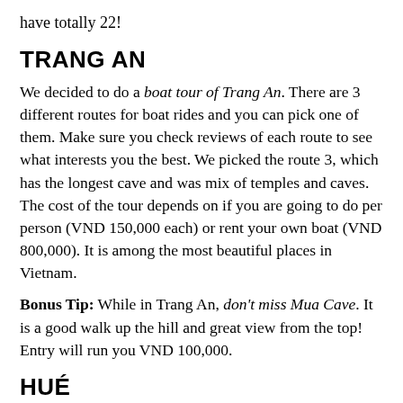have totally 22!
TRANG AN
We decided to do a boat tour of Trang An. There are 3 different routes for boat rides and you can pick one of them. Make sure you check reviews of each route to see what interests you the best. We picked the route 3, which has the longest cave and was mix of temples and caves. The cost of the tour depends on if you are going to do per person (VND 150,000 each) or rent your own boat (VND 800,000). It is among the most beautiful places in Vietnam.
Bonus Tip: While in Trang An, don't miss Mua Cave. It is a good walk up the hill and great view from the top! Entry will run you VND 100,000.
HUÉ
I did a day tour of Hué that covered a lot of places in Huế and let me glimpse some of the sights on the route to Hội An. The tour went from 10am and reached Hội An by evening (around 8pm). I hired a wonderful driver named Mr Hai (hohaihue@gmail.com, +84 90 510 35 81). He